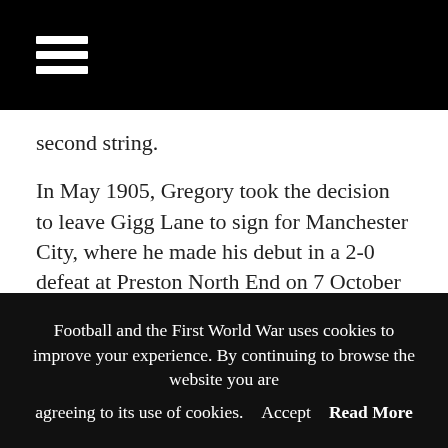≡ (hamburger menu icon)
second string.
In May 1905, Gregory took the decision to leave Gigg Lane to sign for Manchester City, where he made his debut in a 2-0 defeat at Preston North End on 7 October 1905. He would subsequently struggle to establish himself at Hyde Road, however, and after playing just two further matches, Gregory left at the end of the 1905/06 campaign to join Brighton and Hove
Football and the First World War uses cookies to improve your experience. By continuing to browse the website you are agreeing to its use of cookies. Accept Read More